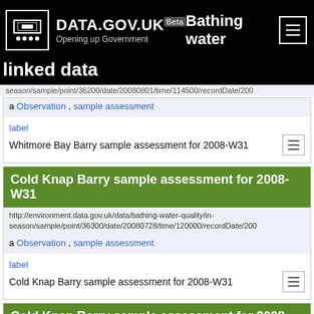DATA.GOV.UK Beta — Bathing water linked data
http://environment.data.gov.uk/data/bathing-water-quality/in-season/sample/point/36200/date/20080801/time/114500/recordDate/200...
a Observation , sample assessment
label
Whitmore Bay Barry sample assessment for 2008-W31
Cold Knap Barry sample assessment for 2008-W31
http://environment.data.gov.uk/data/bathing-water-quality/in-season/sample/point/36300/date/20080728/time/120000/recordDate/200...
a Observation , sample assessment
label
Cold Knap Barry sample assessment for 2008-W31
Cold Knap Barry sample assessment for 2008-W31
http://environment.data.gov.uk/data/bathing-water-quality/in-season/sample/point/36300/date/20080801/time/152500/recordDate/200...
a Observation , sample assessment